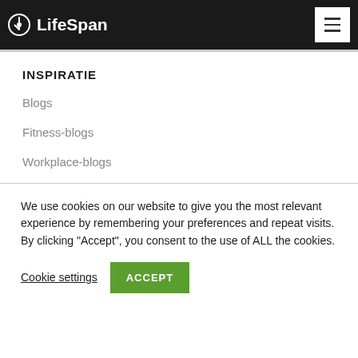LifeSpan
INSPIRATIE
Blogs
Fitness-blogs
Workplace-blogs
We use cookies on our website to give you the most relevant experience by remembering your preferences and repeat visits. By clicking “Accept”, you consent to the use of ALL the cookies.
Cookie settings | ACCEPT